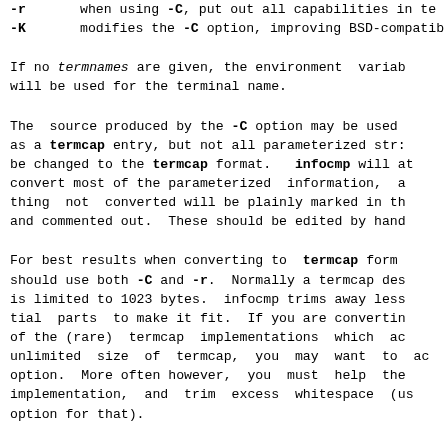-r    when using -C, put out all capabilities in te...
-K    modifies the -C option, improving BSD-compatib...
If no termnames are given, the environment variab... will be used for the terminal name.
The source produced by the -C option may be used... as a termcap entry, but not all parameterized str... be changed to the termcap format. infocmp will a... convert most of the parameterized information, a... thing not converted will be plainly marked in t... and commented out. These should be edited by han...
For best results when converting to termcap for... should use both -C and -r. Normally a termcap de... is limited to 1023 bytes. infocmp trims away les... tial parts to make it fit. If you are convertin... of the (rare) termcap implementations which a... unlimited size of termcap, you may want to a... option. More often however, you must help the... implementation, and trim excess whitespace (u... option for that).
All padding information for strings will be... together and placed at the beginning of the str... termcap expects it. Mandatory padding (padding... tion with a trailing '/') will become optional.
All termcap variables no longer supported by term... which are derivable from other terminfo variables...